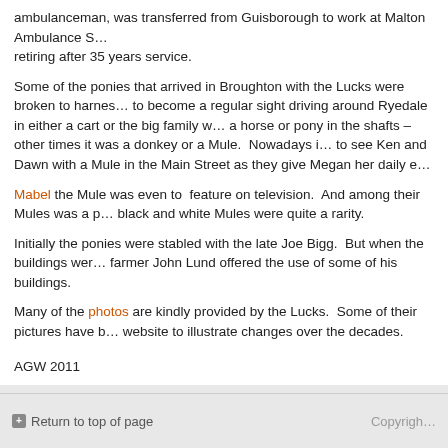ambulanceman, was transferred from Guisborough to work at Malton Ambulance S... retiring after 35 years service.
Some of the ponies that arrived in Broughton with the Lucks were broken to harnes... to become a regular sight driving around Ryedale in either a cart or the big family w... a horse or pony in the shafts – other times it was a donkey or a Mule.  Nowadays i... to see Ken and Dawn with a Mule in the Main Street as they give Megan her daily e...
Mabel the Mule was even to  feature on television.  And among their Mules was a p... black and white Mules were quite a rarity.
Initially the ponies were stabled with the late Joe Bigg.  But when the buildings wer... farmer John Lund offered the use of some of his buildings.
Many of the photos are kindly provided by the Lucks.  Some of their pictures have b... website to illustrate changes over the decades.
AGW 2011
Return to top of page    Copyright